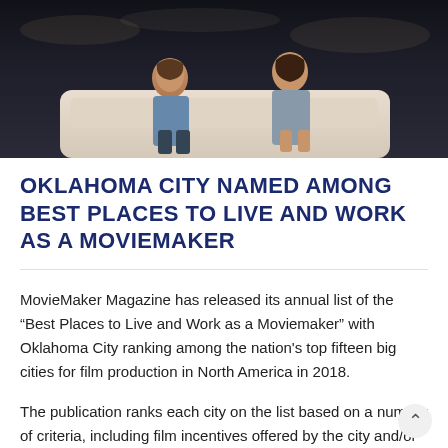[Figure (photo): Two people sitting on a white vehicle or surface outdoors at night, dark background with city lights]
OKLAHOMA CITY NAMED AMONG BEST PLACES TO LIVE AND WORK AS A MOVIEMAKER
MovieMaker Magazine has released its annual list of the “Best Places to Live and Work as a Moviemaker” with Oklahoma City ranking among the nation's top fifteen big cities for film production in North America in 2018.
The publication ranks each city on the list based on a number of criteria, including film incentives offered by the city and/or state, the number of film productions in the last twelve months, the amount of film infrastructure and other statistical data related to the city's local economy, geography and culture.